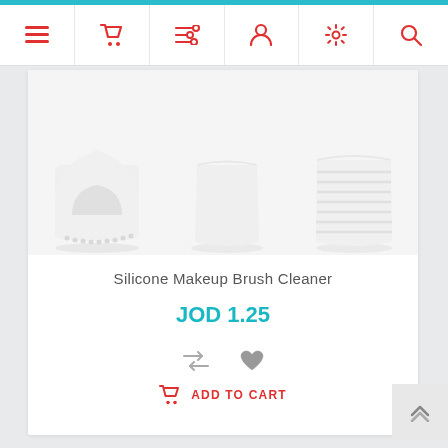[Figure (screenshot): E-commerce product page showing Silicone Makeup Brush Cleaner with navigation bar, product images, price JOD 1.25, and Add to Cart button]
Silicone Makeup Brush Cleaner
JOD 1.25
ADD TO CART